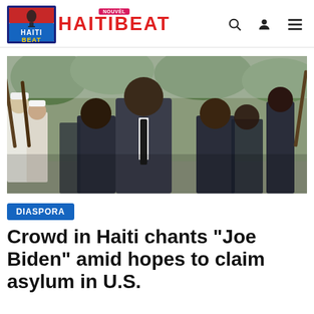HAITIBEAT
[Figure (photo): A man in a dark suit and black tie walks forward surrounded by uniformed guards carrying rifles, with a group of people in dark suits following behind. Appears to be a formal military or state ceremony outdoors.]
DIASPORA
Crowd in Haiti chants "Joe Biden" amid hopes to claim asylum in U.S.